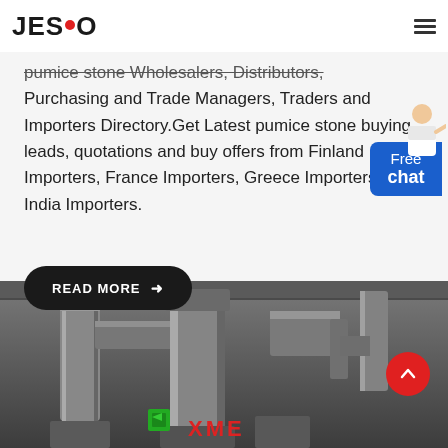JESCO
pumice stone Wholesalers, Distributors, Purchasing and Trade Managers, Traders and Importers Directory.Get Latest pumice stone buying leads, quotations and buy offers from Finland Importers, France Importers, Greece Importers and India Importers.
READ MORE →
[Figure (photo): Industrial machinery (mills/grinders) in a factory setting with dust collection system. XME branding visible at bottom. Red circular back-to-top button on the right side.]